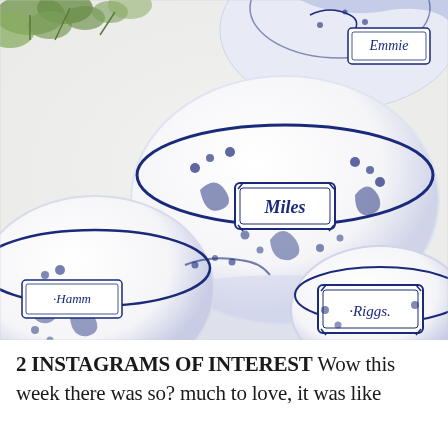[Figure (photo): Photo of multiple blue and white ceramic pet bowls with decorative floral patterns, each labeled with a name in a decorative frame: Miles (large center bowl), Hamm (left bowl), Emmie (top right), Riggs (bottom right). The bowls are arranged on a light surface with greenery visible in the top left corner.]
2 INSTAGRAMS OF INTEREST Wow this week there was so? much to love, it was like